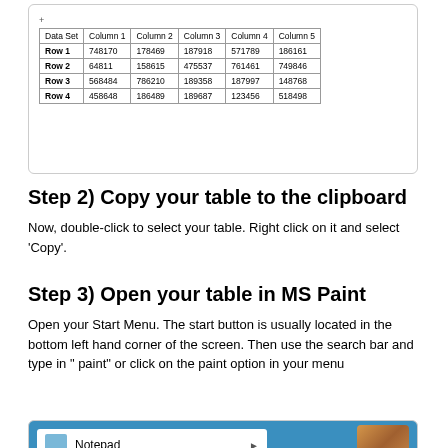[Figure (screenshot): Screenshot of a spreadsheet table with columns Data Set, Column 1, Column 2, Column 3, Column 4, Column 5 and rows Row 1 through Row 4 with numerical data]
| Data Set | Column 1 | Column 2 | Column 3 | Column 4 | Column 5 |
| --- | --- | --- | --- | --- | --- |
| Row 1 | 748170 | 178469 | 187918 | 571789 | 186161 |
| Row 2 | 64811 | 158615 | 475537 | 761461 | 749846 |
| Row 3 | 568484 | 786210 | 189358 | 187997 | 148768 |
| Row 4 | 458648 | 186489 | 189687 | 123456 | 518498 |
Step 2) Copy your table to the clipboard
Now, double-click to select your table. Right click on it and select 'Copy'.
Step 3) Open your table in MS Paint
Open your Start Menu. The start button is usually located in the bottom left hand corner of the screen. Then use the search bar and type in " paint" or click on the paint option in your menu
[Figure (screenshot): Screenshot of Windows Start Menu showing Notepad option with arrow and a dog photo thumbnail in the top right corner, on a blue/teal background]